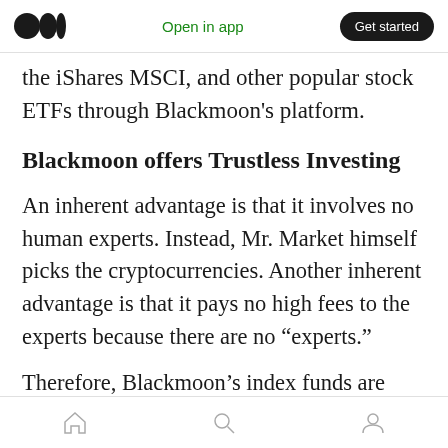Open in app | Get started
the iShares MSCI, and other popular stock ETFs through Blackmoon's platform.
Blackmoon offers Trustless Investing
An inherent advantage is that it involves no human experts. Instead, Mr. Market himself picks the cryptocurrencies. Another inherent advantage is that it pays no high fees to the experts because there are no "experts."
Therefore, Blackmoon's index funds are trustless investing. Trustless mechanisms eliminate the
Home | Search | Profile